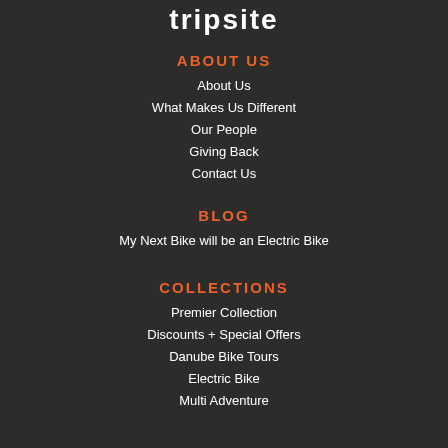tripsite
ABOUT US
About Us
What Makes Us Different
Our People
Giving Back
Contact Us
BLOG
My Next Bike will be an Electric Bike
COLLECTIONS
Premier Collection
Discounts + Special Offers
Danube Bike Tours
Electric Bike
Multi Adventure